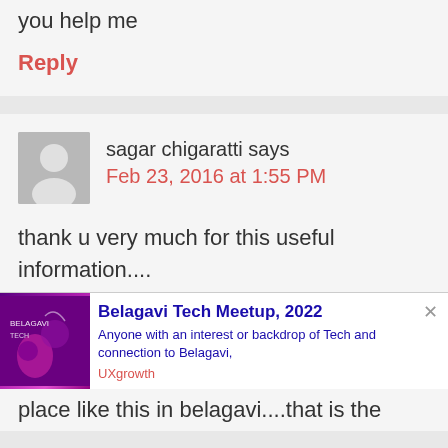you help me
Reply
sagar chigaratti says
Feb 23, 2016 at 1:55 PM
thank u very much for this useful information....
[Figure (infographic): Ad banner: Belagavi Tech Meetup, 2022 with purple/pink gradient image on left]
place like this in belagavi....that is the